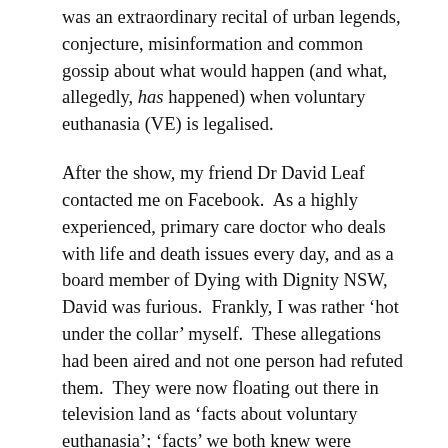was an extraordinary recital of urban legends, conjecture, misinformation and common gossip about what would happen (and what, allegedly, has happened) when voluntary euthanasia (VE) is legalised.
After the show, my friend Dr David Leaf contacted me on Facebook.  As a highly experienced, primary care doctor who deals with life and death issues every day, and as a board member of Dying with Dignity NSW, David was furious.  Frankly, I was rather 'hot under the collar' myself.  These allegations had been aired and not one person had refuted them.  They were now floating out there in television land as 'facts about voluntary euthanasia'; 'facts' we both knew were patently false.
The conversation quickly turned to what should 'we' do about it?
(That's what I love about my friends. They're not the sort